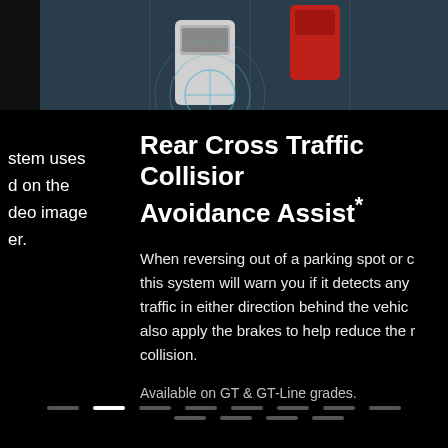[Figure (photo): Aerial view of cars in a parking lot with sensor/radar wave overlay graphics, showing a white SUV and red car with blue circular sensor rings]
stem uses d on the deo image er.
Rear Cross Traffic Collision Avoidance Assist*
When reversing out of a parking spot or d this system will warn you if it detects any traffic in either direction behind the vehi also apply the brakes to help reduce the r collision.
Available on GT & GT-Line grades.